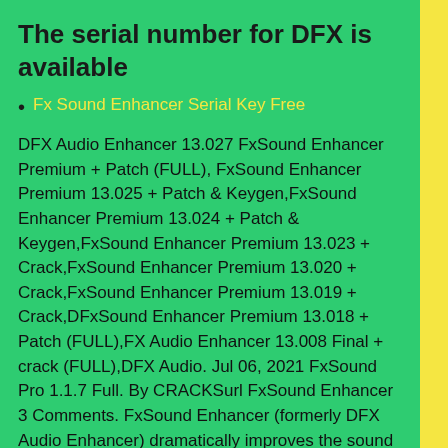The serial number for DFX is available
Fx Sound Enhancer Serial Key Free
DFX Audio Enhancer 13.027 FxSound Enhancer Premium + Patch (FULL), FxSound Enhancer Premium 13.025 + Patch & Keygen,FxSound Enhancer Premium 13.024 + Patch & Keygen,FxSound Enhancer Premium 13.023 + Crack,FxSound Enhancer Premium 13.020 + Crack,FxSound Enhancer Premium 13.019 + Crack,DFxSound Enhancer Premium 13.018 + Patch (FULL),FX Audio Enhancer 13.008 Final + crack (FULL),DFX Audio. Jul 06, 2021 FxSound Pro 1.1.7 Full. By CRACKSurl FxSound Enhancer 3 Comments. FxSound Enhancer (formerly DFX Audio Enhancer) dramatically improves the sound quality of your favorite media players with 3D Surround, higher fidelity, booming bass and more. That provides exceptional playback quality on your PC. FxSound Enhancer optimizes your music in